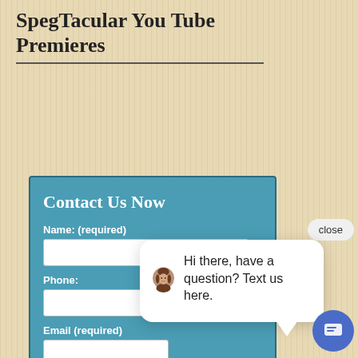SpegTacular You Tube Premieres
[Figure (screenshot): Contact Us Now web form with fields: Name (required), Phone, Email (required), Your Message, on a teal/blue background.]
[Figure (screenshot): Chat popup with avatar photo of a woman, message: Hi there, have a question? Text us here. With a close button and a blue chat icon button.]